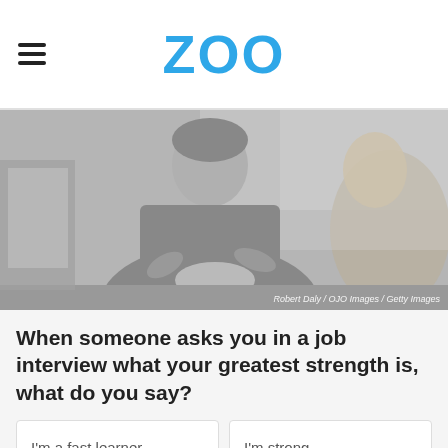ZOO
[Figure (photo): Black and white photo of two people in a job interview setting, one person holding papers across a desk from another. Photo credit: Robert Daly / OJO Images / Getty Images]
When someone asks you in a job interview what your greatest strength is, what do you say?
I'm a fast learner.
I'm strong.